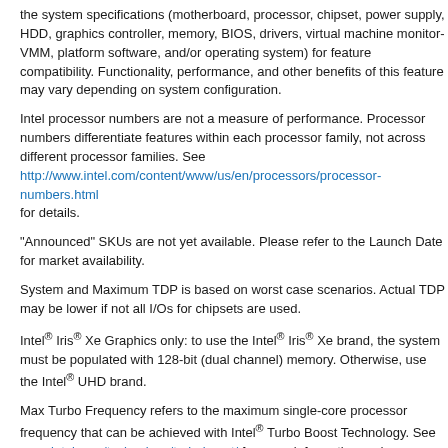the system specifications (motherboard, processor, chipset, power supply, HDD, graphics controller, memory, BIOS, drivers, virtual machine monitor-VMM, platform software, and/or operating system) for feature compatibility. Functionality, performance, and other benefits of this feature may vary depending on system configuration.
Intel processor numbers are not a measure of performance. Processor numbers differentiate features within each processor family, not across different processor families. See http://www.intel.com/content/www/us/en/processors/processor-numbers.html for details.
"Announced" SKUs are not yet available. Please refer to the Launch Date for market availability.
System and Maximum TDP is based on worst case scenarios. Actual TDP may be lower if not all I/Os for chipsets are used.
Intel® Iris® Xe Graphics only: to use the Intel® Iris® Xe brand, the system must be populated with 128-bit (dual channel) memory. Otherwise, use the Intel® UHD brand.
Max Turbo Frequency refers to the maximum single-core processor frequency that can be achieved with Intel® Turbo Boost Technology. See www.intel.com/technology/turboboost/ for more information and applicability of this technology.
See http://www.intel.com/content/www/us/en/architecture-and-technology/hyper-threading/hyper-threading-technology.html?wapkw=hyper+threading for more information including details on which processors support Intel® HT Technology.